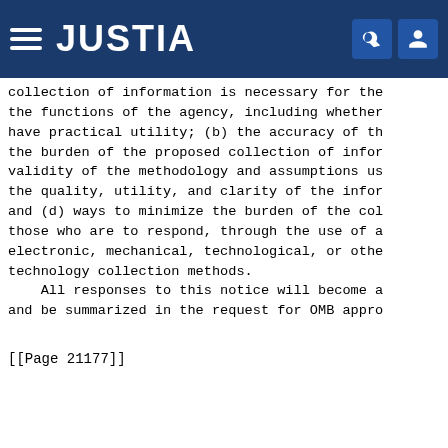JUSTIA
collection of information is necessary for the functions of the agency, including whether have practical utility; (b) the accuracy of the burden of the proposed collection of infor validity of the methodology and assumptions us the quality, utility, and clarity of the infor and (d) ways to minimize the burden of the col those who are to respond, through the use of a electronic, mechanical, technological, or othe technology collection methods.
    All responses to this notice will become a and be summarized in the request for OMB appro
[[Page 21177]]